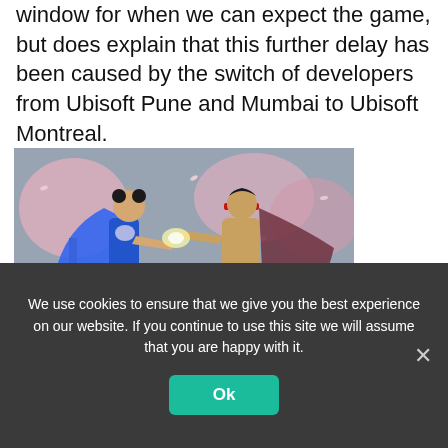window for when we can expect the game, but does explain that this further delay has been caused by the switch of developers from Ubisoft Pune and Mumbai to Ubisoft Montreal.
[Figure (photo): Screenshot of a Street Fighter-style fighting game showing a female character in blue (Chun-Li style) facing a male character in red headband (Ryu style) in a cherry blossom themed stage.]
We use cookies to ensure that we give you the best experience on our website. If you continue to use this site we will assume that you are happy with it.